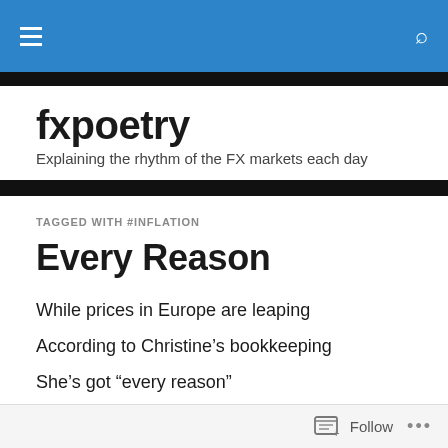fxpoetry — navigation bar with hamburger menu and search icon
fxpoetry
Explaining the rhythm of the FX markets each day
TAGGED WITH #INFLATION
Every Reason
While prices in Europe are leaping
According to Christine's bookkeeping
She's got “every reason”
To keep on appeasin'
Follow ...